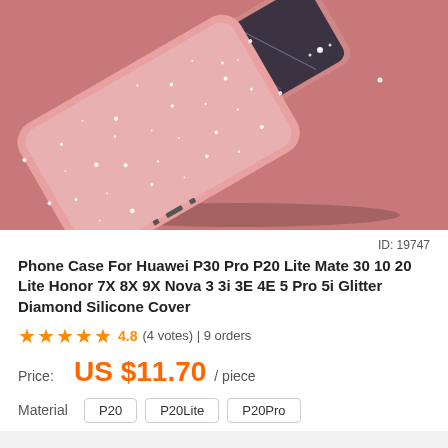[Figure (photo): Pink glitter diamond silicone phone case displayed on a dusty rose/salmon pink background. Two phone cases are shown at an angle, the foreground one showing the glittery back surface with sparkle effects and a pink border/bumper, the background showing the front mirror-like screen.]
ID: 19747
Phone Case For Huawei P30 Pro P20 Lite Mate 30 10 20 Lite Honor 7X 8X 9X Nova 3 3i 3E 4E 5 Pro 5i Glitter Diamond Silicone Cover
★★★★★ 4.8 (4 votes) | 9 orders
Price: US $11.70 / piece
Material   P20   P20Lite   P20Pro